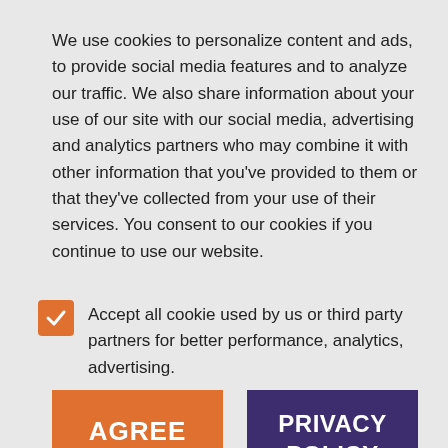We use cookies to personalize content and ads, to provide social media features and to analyze our traffic. We also share information about your use of our site with our social media, advertising and analytics partners who may combine it with other information that you've provided to them or that they've collected from your use of their services. You consent to our cookies if you continue to use our website.
Accept all cookie used by us or third party partners for better performance, analytics, advertising.
AGREE
PRIVACY POLICY
NEXT GAME. The Solar Bears return home to host Florida on Thursday, March 24 at 7 p.m. at the AdventHealth Rink at